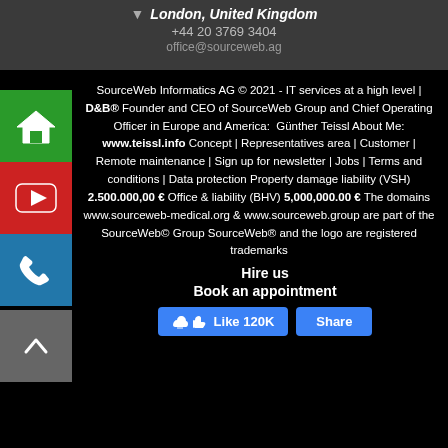London, United Kingdom
+44 20 3769 3404
office@sourceweb.ag
SourceWeb Informatics AG © 2021 - IT services at a high level | D&B® Founder and CEO of SourceWeb Group and Chief Operating Officer in Europe and America: Günther Teissl About Me: www.teissl.info Concept | Representatives area | Customer | Remote maintenance | Sign up for newsletter | Jobs | Terms and conditions | Data protection Property damage liability (VSH) 2.500.000,00 € Office & liability (BHV) 5,000,000.00 € The domains www.sourceweb-medical.org & www.sourceweb.group are part of the SourceWeb© Group SourceWeb® and the logo are registered trademarks
Hire us
Book an appointment
[Figure (illustration): Home icon (green background), YouTube play button icon (red background), Phone icon (blue background), scroll-up arrow icon (gray background) — side navigation icons]
[Figure (illustration): Facebook Like button showing 'Like 120K' and Share button in blue]